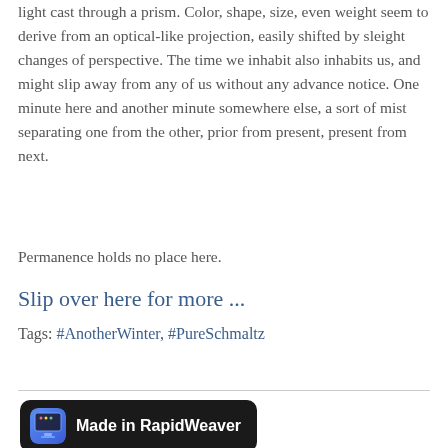light cast through a prism. Color, shape, size, even weight seem to derive from an optical-like projection, easily shifted by sleight changes of perspective. The time we inhabit also inhabits us, and might slip away from any of us without any advance notice. One minute here and another minute somewhere else, a sort of mist separating one from the other, prior from present, present from next.
Permanence holds no place here.
Slip over here for more ...
Tags: #AnotherWinter, #PureSchmaltz
[Figure (other): Made in RapidWeaver badge — black rounded rectangle with app icon and white bold text]